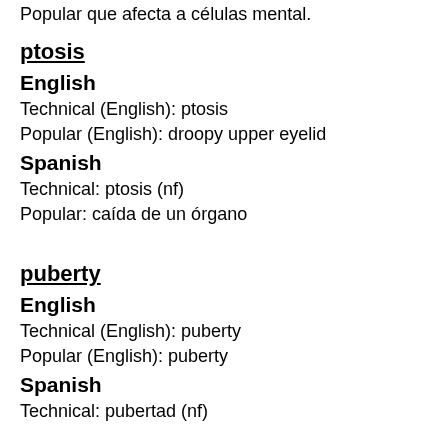Popular que afecta a células mental.
ptosis
English
Technical (English): ptosis
Popular (English): droopy upper eyelid
Spanish
Technical: ptosis (nf)
Popular: caída de un órgano
puberty
English
Technical (English): puberty
Popular (English): puberty
Spanish
Technical: pubertad (nf)